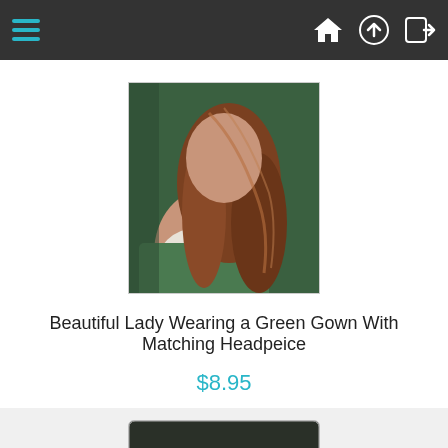Navigation bar with hamburger menu and icons
[Figure (photo): Painting of a beautiful lady with long auburn hair wearing a green gown, shown from behind/side, partially cropped at top]
Beautiful Lady Wearing a Green Gown With Matching Headpeice
$8.95
[Figure (photo): Painting of a beautiful lady with long auburn hair and red flower in hair, wearing a low-cut white dress, looking over her shoulder]